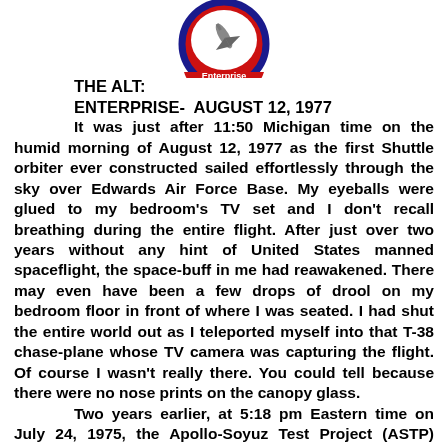[Figure (logo): Enterprise mission patch logo — red and blue circular patch with 'Enterprise' text at bottom and a space shuttle/aircraft image in center]
THE ALT:
ENTERPRISE-  AUGUST 12, 1977
It was just after 11:50 Michigan time on the humid morning of August 12, 1977 as the first Shuttle orbiter ever constructed sailed effortlessly through the sky over Edwards Air Force Base. My eyeballs were glued to my bedroom's TV set and I don't recall breathing during the entire flight. After just over two years without any hint of United States manned spaceflight, the space-buff in me had reawakened. There may even have been a few drops of drool on my bedroom floor in front of where I was seated. I had shut the entire world out as I teleported myself into that T-38 chase-plane whose TV camera was capturing the flight. Of course I wasn't really there. You could tell because there were no nose prints on the canopy glass.
	Two years earlier, at 5:18 pm Eastern time on July 24, 1975, the Apollo-Soyuz Test Project (ASTP) came to an end when the Apollo Command Module splashed down. Unfortunately, during most of the two years